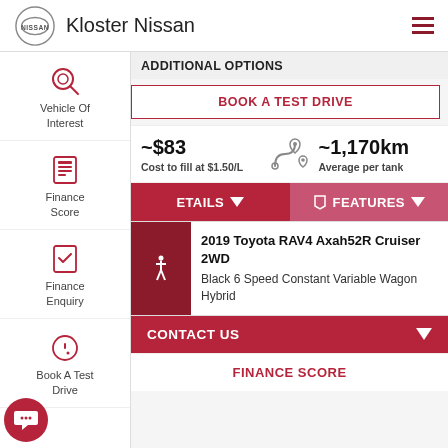Kloster Nissan
ADDITIONAL OPTIONS
BOOK A TEST DRIVE
~$83
Cost to fill at $1.50/L
~1,170km
Average per tank
DETAILS
FEATURES
2019 Toyota RAV4 Axah52R Cruiser 2WD
Black 6 Speed Constant Variable Wagon Hybrid
CONTACT US
FINANCE SCORE